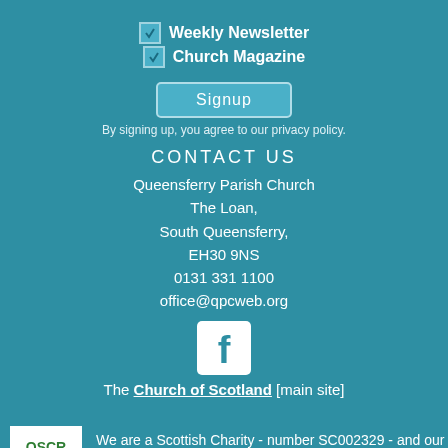☑ Weekly Newsletter
☑ Church Magazine
Signup
By signing up, you agree to our privacy policy.
CONTACT US
Queensferry Parish Church
The Loan,
South Queensferry,
EH30 9NS
0131 331 1100
office@qpcweb.org
[Figure (logo): Facebook logo icon - white 'f' on white square background]
The Church of Scotland [main site]
[Figure (logo): OSCR (Scottish Charity Regulator) logo - white square with OSCR branding]
We are a Scottish Charity - number SC002329 - and our registered name is Queensferry Parish Church of Scotland. Banner images courtesy of
www.wordsandpicturesuk.com